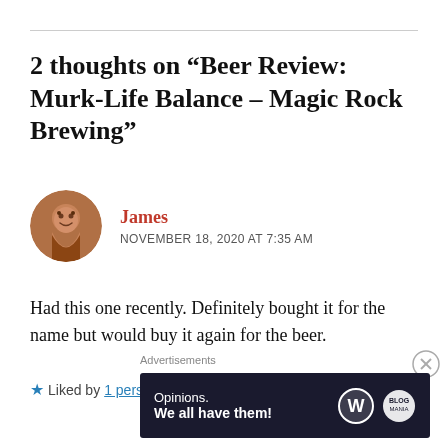2 thoughts on “Beer Review: Murk-Life Balance – Magic Rock Brewing”
[Figure (photo): Circular avatar photo of a man named James, smiling.]
James
NOVEMBER 18, 2020 AT 7:35 AM
Had this one recently. Definitely bought it for the name but would buy it again for the beer.
★ Liked by 1 person
Advertisements
[Figure (screenshot): Advertisement banner with dark background reading 'Opinions. We all have them!' with WordPress and another logo.]